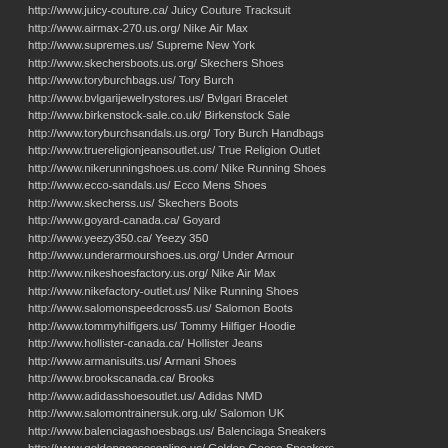http://www.juicy-couture.ca/ Juicy Couture Tracksuit
http://www.airmax-270.us.org/ Nike Air Max
http://www.supremes.us/ Supreme New York
http://www.skechersboots.us.org/ Skechers Shoes
http://www.toryburchbags.us/ Tory Burch
http://www.bvlgarijewelrystores.us/ Bvlgari Bracelet
http://www.birkenstock-sale.co.uk/ Birkenstock Sale
http://www.toryburchsandals.us.org/ Tory Burch Handbags
http://www.truereligionjeansoutlet.us/ True Religion Outlet
http://www.nikerunningshoes.us.com/ Nike Running Shoes
http://www.ecco-sandals.us/ Ecco Mens Shoes
http://www.skecherss.us/ Skechers Boots
http://www.goyard-canada.ca/ Goyard
http://www.yeezy350.ca/ Yeezy 350
http://www.underarmourshoes.us.org/ Under Armour
http://www.nikeshoesfactory.us.org/ Nike Air Max
http://www.nikefactory-outlet.us/ Nike Running Shoes
http://www.salomonspeedcross5.us/ Salomon Boots
http://www.tommyhilfigers.us/ Tommy Hilfiger Hoodie
http://www.hollister-canada.ca/ Hollister Jeans
http://www.armanisuits.us/ Armani Shoes
http://www.brookscanada.ca/ Brooks
http://www.adidasshoesoutlet.us/ Adidas NMD
http://www.salomontrainersuk.org.uk/ Salomon UK
http://www.balenciagashoesbags.us/ Balenciaga Sneakers
http://www.goldengoosesonline.us/ Golden Goose Sneakers
http://www.longchamp-outlet.us/ Longchamp Outlet
http://www.airmax270canada.ca/ Air Max 270
http://www.montblanc.us.org/ Mont Blanc Fountain Pen